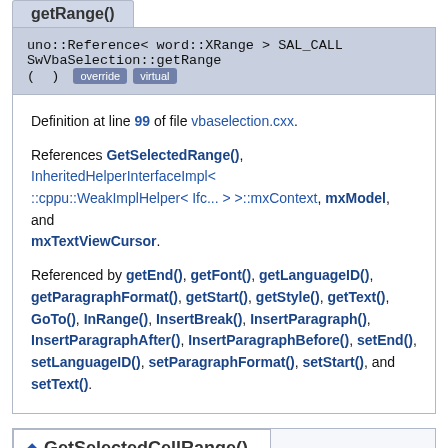uno::Reference< word::XRange > SAL_CALL SwVbaSelection::getRange ( ) override virtual
Definition at line 99 of file vbaselection.cxx.
References GetSelectedRange(), InheritedHelperInterfaceImpl< ::cppu::WeakImplHelper< Ifc... > >::mxContext, mxModel, and mxTextViewCursor.
Referenced by getEnd(), getFont(), getLanguageID(), getParagraphFormat(), getStart(), getStyle(), getText(), GoTo(), InRange(), InsertBreak(), InsertParagraph(), InsertParagraphAfter(), InsertParagraphBefore(), setEnd(), setLanguageID(), setParagraphFormat(), setStart(), and setText().
◆ GetSelectedCellRange()
void